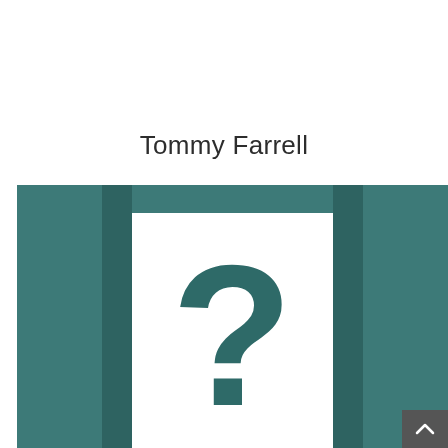Tommy Farrell
[Figure (illustration): Placeholder profile image with a teal/dark cyan border frame and a large question mark symbol in the center on a white background, indicating no photo available.]